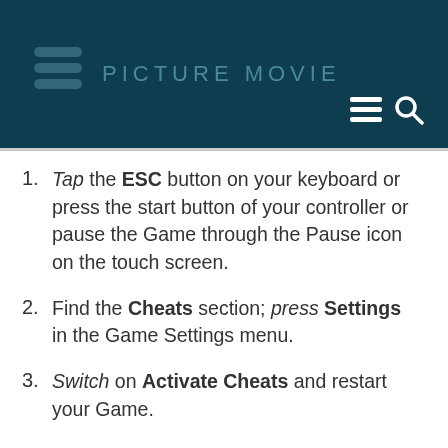PICTURE MOVIE
Tap the ESC button on your keyboard or press the start button of your controller or pause the Game through the Pause icon on the touch screen.
Find the Cheats section; press Settings in the Game Settings menu.
Switch on Activate Cheats and restart your Game.